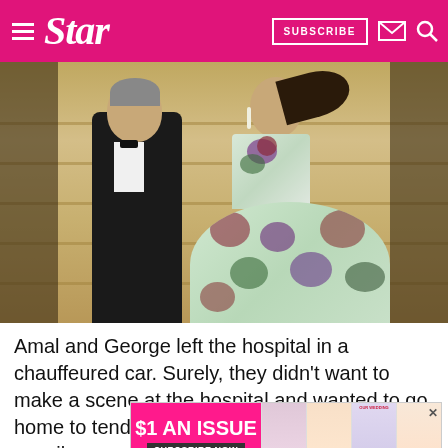Star — SUBSCRIBE
[Figure (photo): George and Amal Clooney at a formal event, man in black tuxedo, woman in floral strapless gown, standing on steps]
Amal and George left the hospital in a chauffeured car. Surely, they didn't want to make a scene at the hospital and wanted to go home to tend t… possib…
[Figure (infographic): Advertisement banner: $1 AN ISSUE — SUBSCRIBE NOW, with magazine cover images]